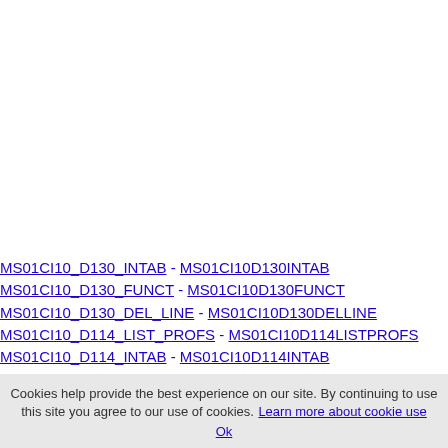MS01CI10_D130_INTAB - MS01CI10D130INTAB
MS01CI10_D130_FUNCT - MS01CI10D130FUNCT
MS01CI10_D130_DEL_LINE - MS01CI10D130DELLINE
MS01CI10_D114_LIST_PROFS - MS01CI10D114LISTPROFS
MS01CI10_D114_INTAB - MS01CI10D114INTAB
MS01CI10_D114_FUNCT - MS01CI10D114FUNCT
Cookies help provide the best experience on our site. By continuing to use this site you agree to our use of cookies. Learn more about cookie use Ok